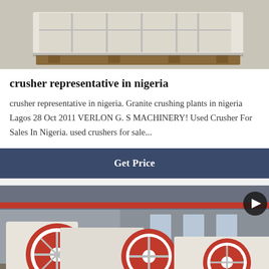[Figure (photo): Close-up top view of a white industrial crusher machine component showing rectangular grid/mesh structure, sitting on wooden pallets on a concrete floor.]
crusher representative in nigeria
crusher representative in nigeria. Granite crushing plants in nigeria Lagos 28 Oct 2011 VERLON G. S MACHINERY! Used Crusher For Sales In Nigeria. used crushers for sale...
Get Price
[Figure (photo): Industrial factory floor showing multiple large white jaw crusher machines with prominent red and white flywheels, inside a large warehouse/factory building with steel framework and natural lighting from windows.]